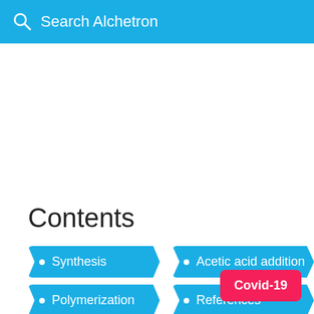Search Alchetron
Contents
Synthesis
Acetic acid addition
Polymerization
References
Covid-19